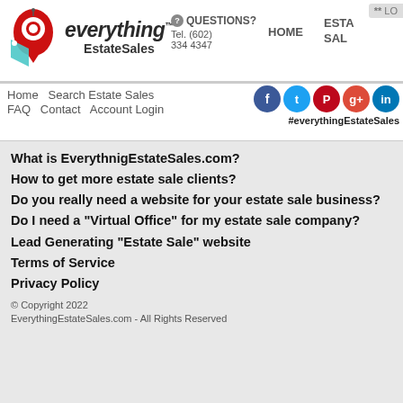[Figure (logo): everything EstateSales logo with red map pin icon and teal price tag]
QUESTIONS? Tel. (602) 334 4347 | HOME | ESTA SAL | ** LO
Home   Search Estate Sales
FAQ   Contact   Account Login
[Figure (logo): Social media icons: Facebook, Twitter, Pinterest, Google+, LinkedIn]
#everythingEstateSales
What is EverythnigEstateSales.com?
How to get more estate sale clients?
Do you really need a website for your estate sale business?
Do I need a "Virtual Office" for my estate sale company?
Lead Generating "Estate Sale" website
Terms of Service
Privacy Policy
© Copyright 2022 EverythingEstateSales.com - All Rights Reserved